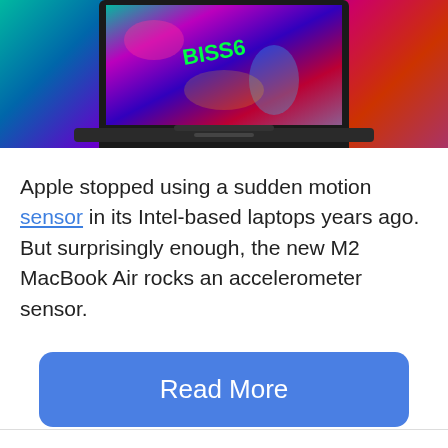[Figure (photo): MacBook laptop with colorful psychedelic wallpaper displaying 'BISS6' text in neon green, against a vibrant teal-to-purple-to-red gradient background]
Apple stopped using a sudden motion sensor in its Intel-based laptops years ago. But surprisingly enough, the new M2 MacBook Air rocks an accelerometer sensor.
Read More